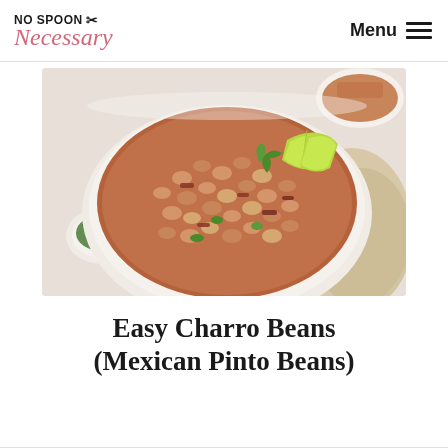No Spoon Necessary | Menu
[Figure (photo): A large bowl of charro beans (Mexican pinto beans) in a reddish-brown broth with bacon pieces, jalapeños, and cilantro garnish with lime wedges on top. A small dish of chopped herbs is visible to the left, and a partial second plate appears in the top right corner.]
Easy Charro Beans (Mexican Pinto Beans)